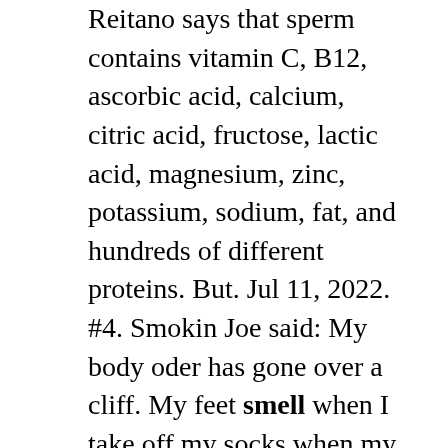Reitano says that sperm contains vitamin C, B12, ascorbic acid, calcium, citric acid, fructose, lactic acid, magnesium, zinc, potassium, sodium, fat, and hundreds of different proteins. But. Jul 11, 2022. #4. Smokin Joe said: My body oder has gone over a cliff. My feet smell when I take off my socks when my vitamin D is 30> and have no smell at all when vitamin D is low. My socks are even wetter when I take them off. I did smell like a skunk during the honeymoon period on TRT or when changing the dosages. Fenugreek "may" help increase strength but it probably doesn't. In 2011 a study was done on 47 males to test if the combination of fenugreek and creatine would increase strength over an 8 week resistance training program. The men were given one of three supplement combinations: Placebo and dextrose. Creatine and dextrose. Creatine and. I believe there are multiple article that cite